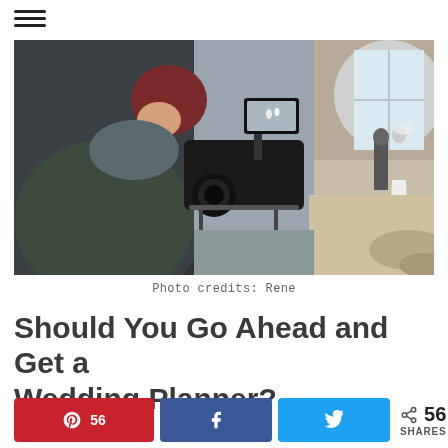☰
[Figure (photo): A videographer filming a wedding couple in a rustic industrial space. The videographer is seen from behind, wearing a dark green jacket and red beanie hat, operating a large professional cinema camera on a shoulder rig. In the background through the viewfinder, a bride and groom stand near a large window in a bright, stone-walled room.]
Photo credits: Rene
Should You Go Ahead and Get a Wedding Planner?
56 SHARES